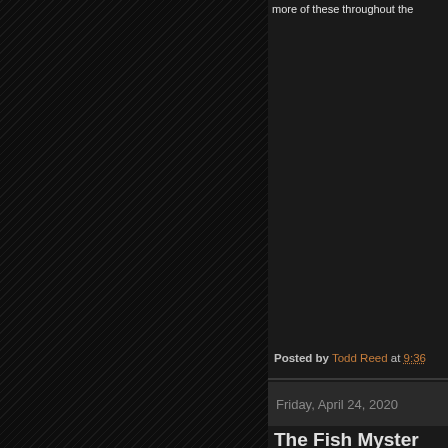[Figure (photo): Dark diagonal hatched/striped background pattern on the left two-thirds of the page, appearing as a dark textured surface with repeating diagonal lines]
more of these throughout the
Posted by Todd Reed at 9:36
Friday, April 24, 2020
The Fish Myster